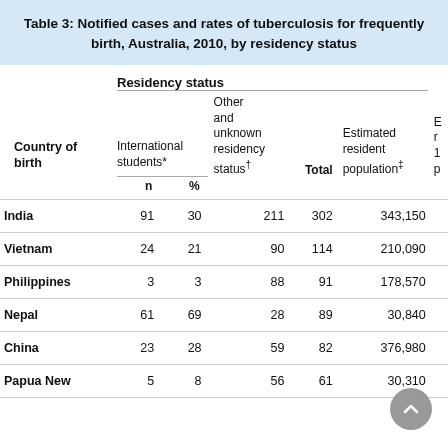Table 3: Notified cases and rates of tuberculosis for frequently notified countries of birth, Australia, 2010, by residency status
| Country of birth | International students* n | International students* % | Other and unknown residency status† | Total | Estimated resident population‡ | E r 1 p |
| --- | --- | --- | --- | --- | --- | --- |
| India | 91 | 30 | 211 | 302 | 343,150 |  |
| Vietnam | 24 | 21 | 90 | 114 | 210,090 |  |
| Philippines | 3 | 3 | 88 | 91 | 178,570 |  |
| Nepal | 61 | 69 | 28 | 89 | 30,840 |  |
| China | 23 | 28 | 59 | 82 | 376,980 |  |
| Papua New | 5 | 8 | 56 | 61 | 30,310 |  |